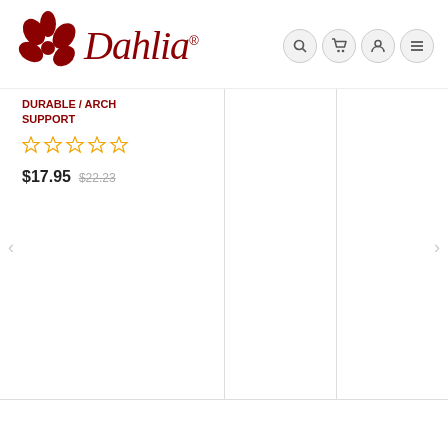[Figure (logo): Dahlia brand logo with dark red flower/leaf illustration and italic script text 'Dahlia' with registered trademark symbol]
[Figure (other): Navigation icons: search, cart, user account, and menu (hamburger) buttons in circular bordered buttons]
DURABLE / ARCH SUPPORT
[Figure (other): Five empty star rating icons in yellow/orange color]
$17.95  $22.23